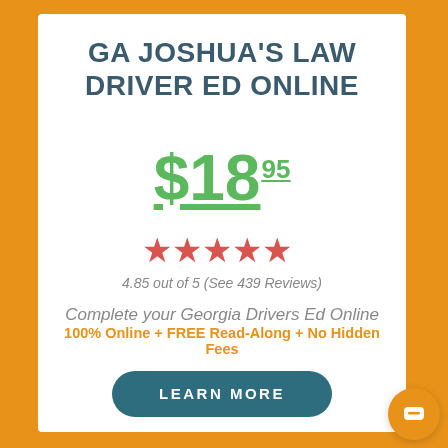GA JOSHUA'S LAW DRIVER ED ONLINE
$18.95
[Figure (other): Five orange star rating icons]
4.85 out of 5 (See 439 Reviews)
Complete your Georgia Drivers Ed Online
100% Online + FREE Read-Along + No Hidden Fees
LEARN MORE